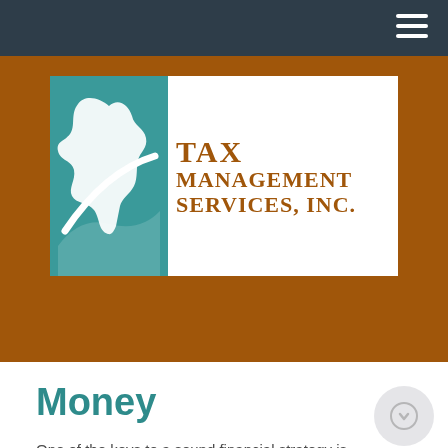[Figure (logo): Tax Management Services, Inc. logo — teal square with white oak leaf and swoosh graphic on the left, brown serif text TAX MANAGEMENT SERVICES, INC. on the right, on a white background set against a brown/rust header band.]
Money
One of the keys to a sound financial strategy is spending less than you take in, and then finding a way to put your excess to